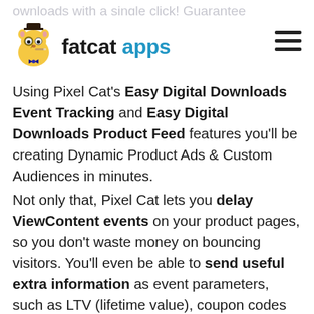fatcat apps
Using Pixel Cat's Easy Digital Downloads Event Tracking and Easy Digital Downloads Product Feed features you'll be creating Dynamic Product Ads & Custom Audiences in minutes.
Not only that, Pixel Cat lets you delay ViewContent events on your product pages, so you don't waste money on bouncing visitors. You'll even be able to send useful extra information as event parameters, such as LTV (lifetime value), coupon codes used and shipping information, so you can build better